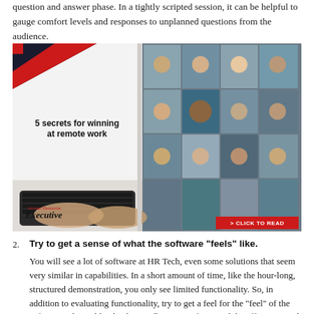question and answer phase. In a tightly scripted session, it can be helpful to gauge comfort levels and responses to unplanned questions from the audience.
[Figure (photo): Advertisement for 'Human Resource Executive' publication showing a person typing on a laptop with a video conference grid on screen. Text reads '5 secrets for winning at remote work' with a red 'CLICK TO READ' button.]
2. Try to get a sense of what the software "feels" like. You will see a lot of software at HR Tech, even some solutions that seem very similar in capabilities. In a short amount of time, like the hour-long, structured demonstration, you only see limited functionality. So, in addition to evaluating functionality, try to get a feel for the "feel" of the software – things like the design, flow, ease of use, and the effort required to complete a process or